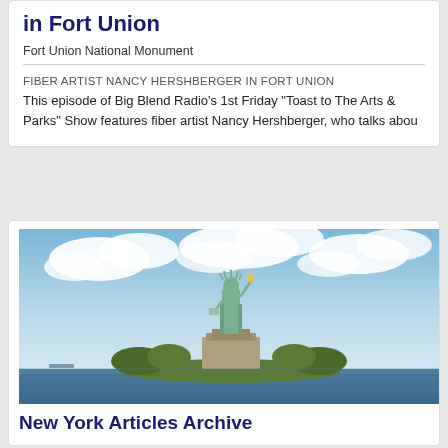in Fort Union
Fort Union National Monument
FIBER ARTIST NANCY HERSHBERGER IN FORT UNION
This episode of Big Blend Radio’s 1st Friday “Toast to The Arts & Parks” Show features fiber artist Nancy Hershberger, who talks abou
[Figure (photo): Photograph of the Statue of Liberty on its island, seen from the water, with blue sky and white clouds in the background and green trees visible around the base.]
New York Articles Archive